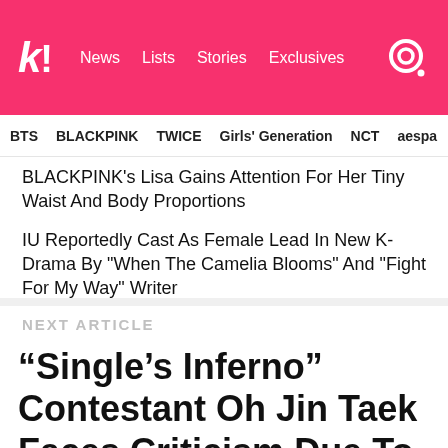k! News Lists Stories Exclusives
BTS  BLACKPINK  TWICE  Girls' Generation  NCT  aespa
BLACKPINK's Lisa Gains Attention For Her Tiny Waist And Body Proportions
IU Reportedly Cast As Female Lead In New K-Drama By "When The Camelia Blooms" And "Fight For My Way" Writer
NEXT ARTICLE
“Single’s Inferno” Contestant Oh Jin Taek Faces Criticism Due To His Choice Of Emojis